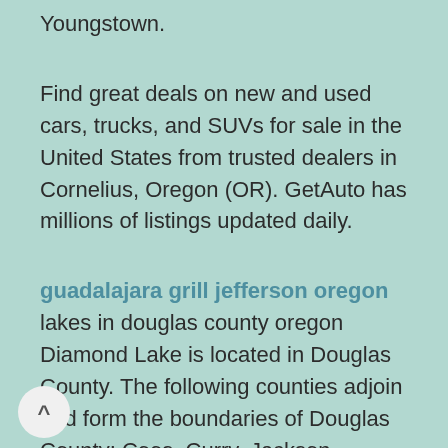Youngstown.
Find great deals on new and used cars, trucks, and SUVs for sale in the United States from trusted dealers in Cornelius, Oregon (OR). GetAuto has millions of listings updated daily.
guadalajara grill jefferson oregon lakes in douglas county oregon Diamond Lake is located in Douglas County. The following counties adjoin and form the boundaries of Douglas County: Coos, Curry, Jackson, Josephine, Klamath & Lane. The northwestern boundary of the county is on the Pacific Ocean.2019-08-07  · Guadalajara Grill, Jefferson: See 5 unbiased reviews of Guadalajara Grill, There aren't enough food, service, value or atmosphere ratings for Guadalajara Grill, Oregon yet. Be one of the first to write a review! Write a